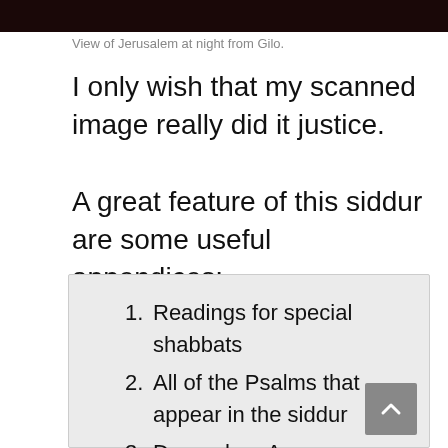[Figure (photo): Dark nighttime photo strip of Jerusalem at night from Gilo]
View of Jerusalem at night from Gilo.
I only wish that my scanned image really did it justice.
A great feature of this siddur are some useful appendices:
Readings for special shabbats
All of the Psalms that appear in the siddur
Days when Av Harachamim and Tzidkatecha are omitted
Transliterated Kaddish